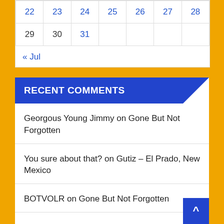|  |  |  |  |  |  |  |
| --- | --- | --- | --- | --- | --- | --- |
| 29 | 30 | 31 |  |  |  |  |
« Jul
RECENT COMMENTS
Georgous Young Jimmy on Gone But Not Forgotten
You sure about that? on Gutiz – El Prado, New Mexico
BOTVOLR on Gone But Not Forgotten
TJ Jackson on Gutiz – El Prado, New Mexico